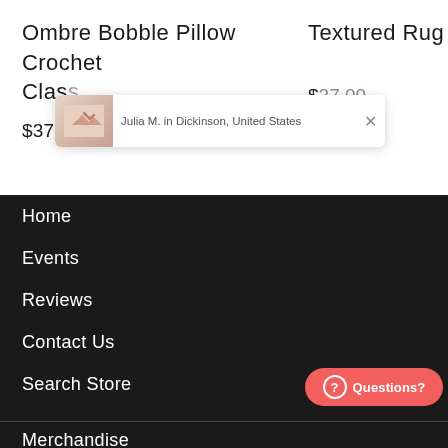Ombre Bobble Pillow Crochet Class
Textured Rug Cro…
$37.00
[Figure (screenshot): Notification popup showing a thumbnail image and text: Julia M. in Dickinson, United States with a close (X) button]
Home
Events
Reviews
Contact Us
Search Store
Questions?
Merchandise